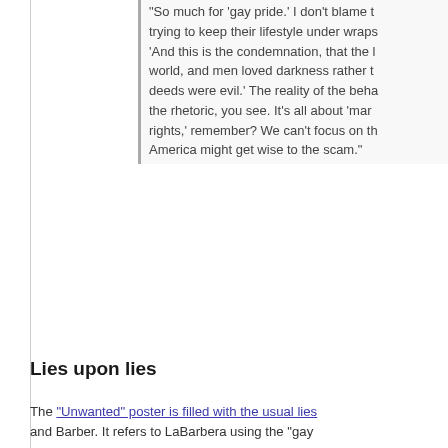“So much for ‘gay pride.’ I don’t blame t… trying to keep their lifestyle under wraps… ‘And this is the condemnation, that the l… world, and men loved darkness rather t… deeds were evil.’ The reality of the beha… the rhetoric, you see. It’s all about ‘mar… rights,’ remember? We can’t focus on th… America might get wise to the scam.”
Lies upon lies
The “Unwanted” poster is filled with the usual lies… and Barber. It refers to LaBarbera using the “gay… president has some prurient interest in homosex… (According to such logic, ardent pro-lifers who pr… secretly support the killing of unborn children.) Je… before; in fact, he was so irate that AFTAH helpe… Washington, D.C. hotel that he wrote a piece ca… with every one of you.”
Apparently if you want to bring out the hate and n… perversions.
In a different post, Jervis, commenting on an AFT… should know by now that ‘sadistic pervs’ is a hon… wonder why Joe and his IML friends are so para… public.
As for Barber — who was fired by Allstate Insura… critical of homosexuality on his own time — the “…